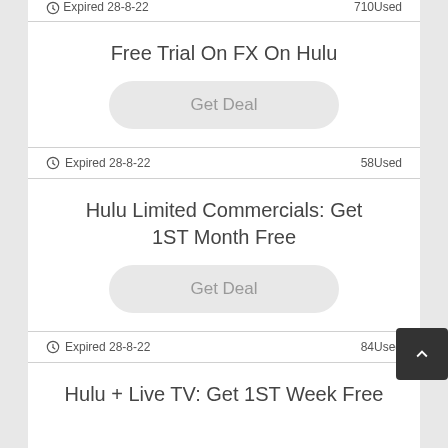Expired 28-8-22   710 Used
Free Trial On FX On Hulu
Get Deal
Expired 28-8-22   58 Used
Hulu Limited Commercials: Get 1ST Month Free
Get Deal
Expired 28-8-22   84 Used
Hulu + Live TV: Get 1ST Week Free